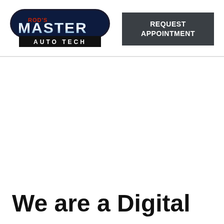[Figure (logo): Rod's Master Auto Tech logo — dark pill-shaped badge with 'ROD'S' in red and 'MASTER' in large chrome/blue letters, 'AUTO TECH' in white on black bar beneath]
REQUEST APPOINTMENT
We are a Digital